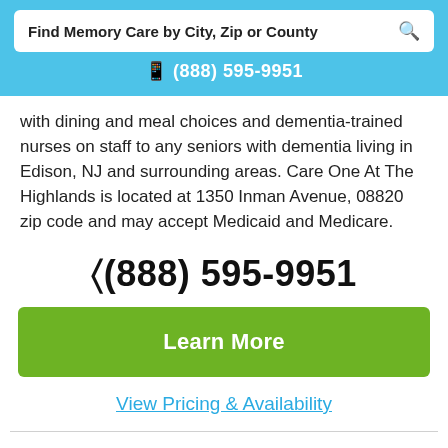Find Memory Care by City, Zip or County
📱 (888) 595-9951
with dining and meal choices and dementia-trained nurses on staff to any seniors with dementia living in Edison, NJ and surrounding areas. Care One At The Highlands is located at 1350 Inman Avenue, 08820 zip code and may accept Medicaid and Medicare.
( (888) 595-9951
Learn More
View Pricing & Availability